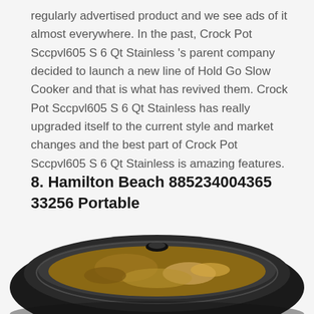regularly advertised product and we see ads of it almost everywhere. In the past, Crock Pot Sccpvl605 S 6 Qt Stainless 's parent company decided to launch a new line of Hold Go Slow Cooker and that is what has revived them. Crock Pot Sccpvl605 S 6 Qt Stainless has really upgraded itself to the current style and market changes and the best part of Crock Pot Sccpvl605 S 6 Qt Stainless is amazing features.
8. Hamilton Beach 885234004365 33256 Portable
[Figure (photo): Photo of a Hamilton Beach portable slow cooker, showing the top/lid of the appliance with food visible inside, black exterior.]